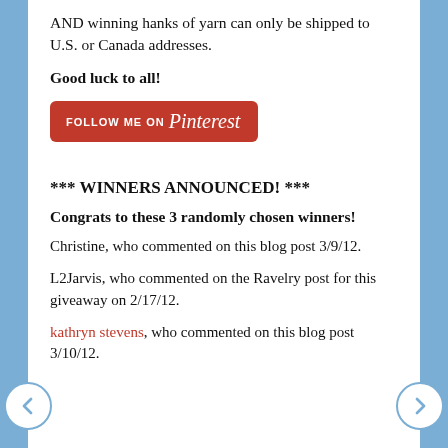AND winning hanks of yarn can only be shipped to U.S. or Canada addresses.
Good luck to all!
[Figure (logo): Follow Me on Pinterest button — red rounded rectangle with white text 'FOLLOW ME ON Pinterest']
*** WINNERS ANNOUNCED! ***
Congrats to these 3 randomly chosen winners!
Christine, who commented on this blog post 3/9/12.
L2Jarvis, who commented on the Ravelry post for this giveaway on 2/17/12.
kathryn stevens, who commented on this blog post 3/10/12.